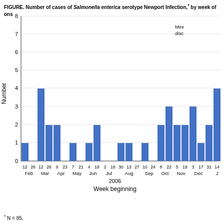FIGURE. Number of cases of Salmonella enterica serotype Newport infection,* by week of onset — United States, 2006
[Figure (histogram): Number of cases of Salmonella enterica serotype Newport infection by week of onset, 2006]
* N = 85.